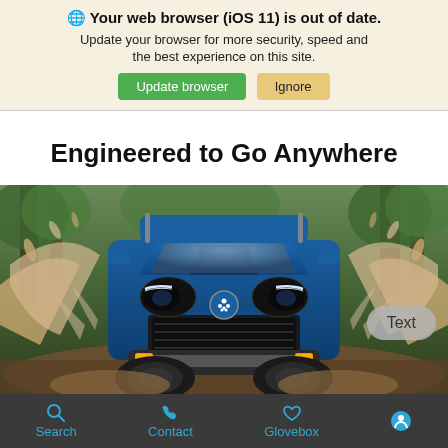🌐 Your web browser (iOS 11) is out of date. Update your browser for more security, speed and the best experience on this site. [Update browser] [Ignore]
Engineered to Go Anywhere
[Figure (photo): Front-facing view of a blue Subaru Outback SUV driving through muddy water splash in a forest setting, with a 'Text' button overlay in bottom-right corner]
🔍 Search  📞 Contact  ♡ Glovebox  ♿